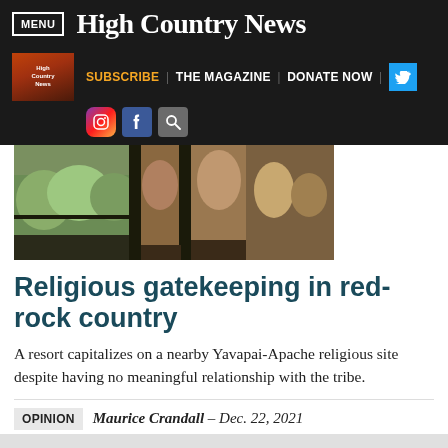MENU | High Country News
[Figure (screenshot): High Country News secondary navigation bar with magazine thumbnail, Subscribe, The Magazine, Donate Now links, Twitter button, Instagram, Facebook, and search icons]
[Figure (photo): Landscape photo of red-rock country with trees reflected in large windows]
Religious gatekeeping in red-rock country
A resort capitalizes on a nearby Yavapai-Apache religious site despite having no meaningful relationship with the tribe.
OPINION   Maurice Crandall – Dec. 22, 2021